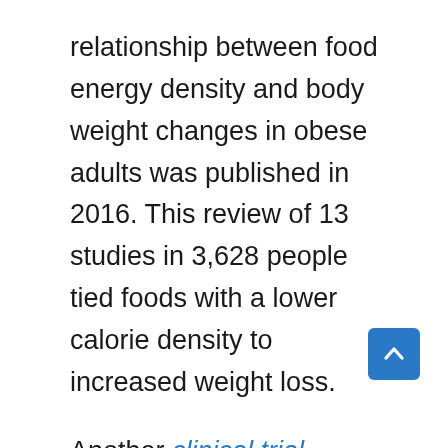relationship between food energy density and body weight changes in obese adults was published in 2016. This review of 13 studies in 3,628 people tied foods with a lower calorie density to increased weight loss.
Another clinical trial published in the American Journal of Clinical Nutrition in 39 women found that participants ate 56% more calories when served a large portion of a high-calorie density meal, compared with a smaller low-calorie density meal.
Furthermore, a study in 96 women with